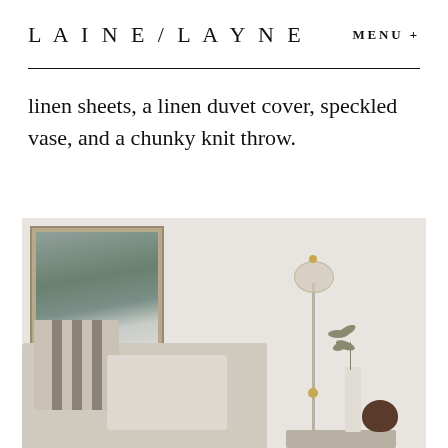LAINE / LAYNE   MENU +
linen sheets, a linen duvet cover, speckled vase, and a chunky knit throw.
[Figure (photo): Interior bedroom photo showing a linen upholstered headboard with striped and linen pillows, a framed landscape artwork on the wall, a floor lamp with glass globe shade and brass fittings, and a small side table with a tall white vase holding dried branches and a dark round ceramic vase.]